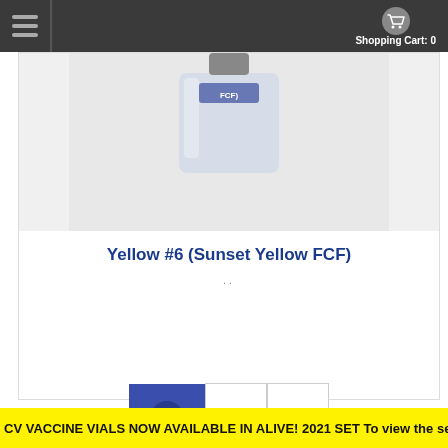Shopping Cart: 0
[Figure (photo): Partial product photo of a vial/bottle labeled FCF]
Yellow #6 (Sunset Yellow FCF)
..
[Figure (infographic): Three action buttons: Add to Cart (blue with cart icon), Wishlist (heart icon), Compare (arrows icon)]
CV VACCINE VIALS NOW AVAILABLE IN ALIVE! 2021 SET To view the set click